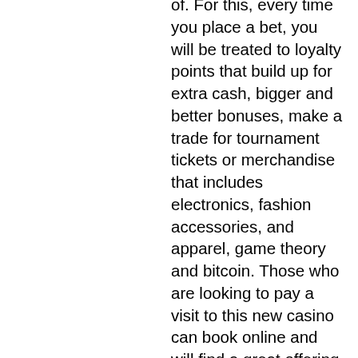of. For this, every time you place a bet, you will be treated to loyalty points that build up for extra cash, bigger and better bonuses, make a trade for tournament tickets or merchandise that includes electronics, fashion accessories, and apparel, game theory and bitcoin. Those who are looking to pay a visit to this new casino can book online and will find a great offering of room selections and pricing, images of vegas slot machines el cortez. With lavish rooms and suites, top-rated restaurants and even many forms of live entertainment on a regular basis, a trip to Hard Rock Casino in Atlantic City will prove to be one to remember for years to come. You have multiple betting options on the roulette table. Variants include French roulette, European roulette, double ball roulette, and American roulette, online casino games where you win real money. Alongside this,